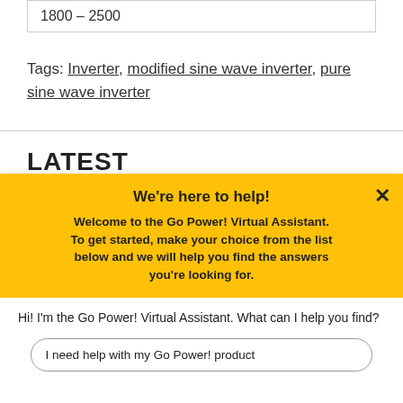1800 – 2500
Tags: Inverter, modified sine wave inverter, pure sine wave inverter
LATEST
Watch pro… company u… events.
[Figure (photo): Photo of outdoor scene with red vehicle and green foliage]
We're here to help!
Welcome to the Go Power! Virtual Assistant. To get started, make your choice from the list below and we will help you find the answers you're looking for.
Hi! I'm the Go Power! Virtual Assistant. What can I help you find?
I need help with my Go Power! product